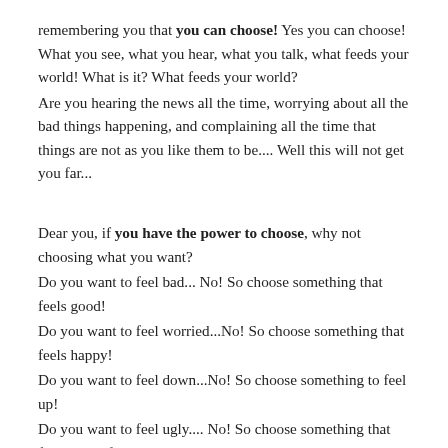remembering you that you can choose! Yes you can choose! What you see, what you hear, what you talk, what feeds your world! What is it? What feeds your world?
Are you hearing the news all the time, worrying about all the bad things happening, and complaining all the time that things are not as you like them to be.... Well this will not get you far...
Dear you, if you have the power to choose, why not choosing what you want?
Do you want to feel bad... No! So choose something that feels good!
Do you want to feel worried...No! So choose something that feels happy!
Do you want to feel down...No! So choose something to feel up!
Do you want to feel ugly.... No! So choose something that feels beautiful!
You get the point, choose what makes you feel better. Start with simple things and focus your attention the most time you can in pleasant things or activities you love, like- pet the dog, go for a